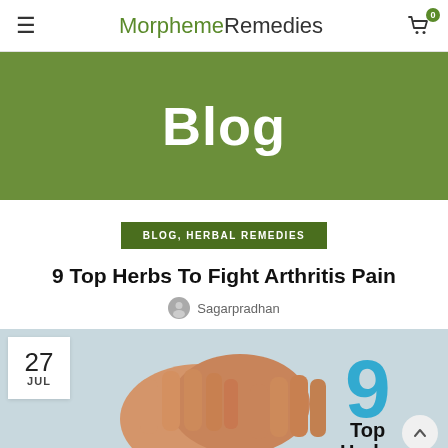MorphemeRemedies
Blog
BLOG, HERBAL REMEDIES
9 Top Herbs To Fight Arthritis Pain
Sagarpradhan
[Figure (photo): Date badge showing 27 JUL overlaid on a photo of arthritic hands with text '9 Top Herbs' visible on right side]